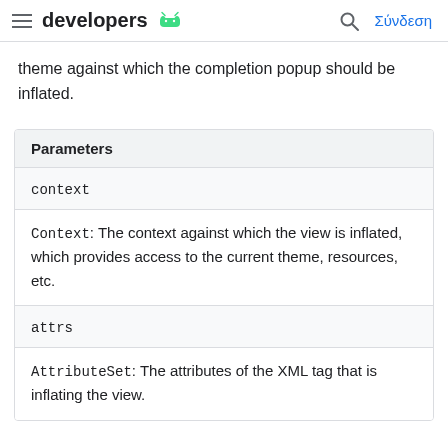developers  Σύνδεση
theme against which the completion popup should be inflated.
| Parameters |
| --- |
| context | Context: The context against which the view is inflated, which provides access to the current theme, resources, etc. |
| attrs | AttributeSet: The attributes of the XML tag that is inflating the view. |